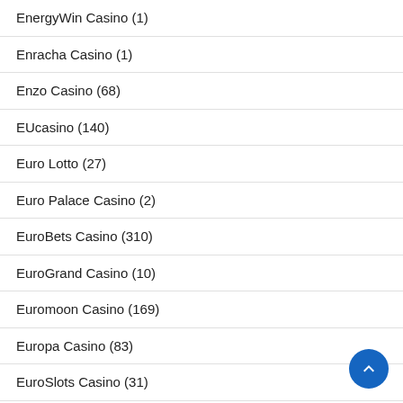EnergyWin Casino (1)
Enracha Casino (1)
Enzo Casino (68)
EUcasino (140)
Euro Lotto (27)
Euro Palace Casino (2)
EuroBets Casino (310)
EuroGrand Casino (10)
Euromoon Casino (169)
Europa Casino (83)
EuroSlots Casino (31)
Everum Casino (2)
Everygame Casino (832)
Evobet Casino (40)